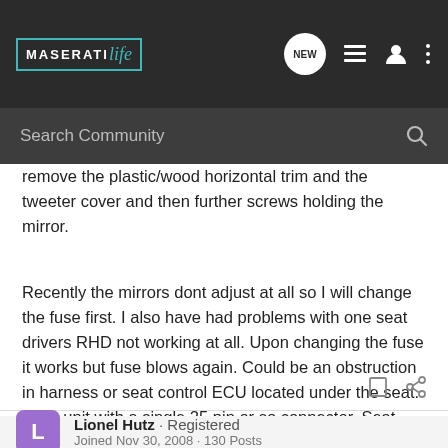MaseratiLife — Search Community navigation bar
remove the plastic/wood horizontal trim and the tweeter cover and then further screws holding the mirror.
Recently the mirrors dont adjust at all so I will change the fuse first. I also have had problems with one seat drivers RHD not working at all. Upon changing the fuse it works but fuse blows again. Could be an obstruction in harness or seat control ECU located under the seat. A big unit with a single 25 pin or so connector. Seat needs to come out :4 allen keys!
Lionel Hutz · Registered
Joined Nov 30, 2008 · 130 Posts